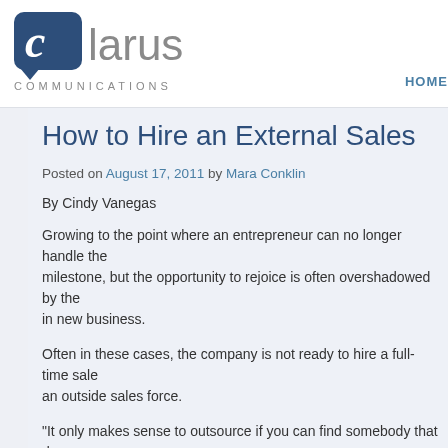[Figure (logo): Clarus Communications logo — blue speech-bubble square with stylized 'c', gray 'larus' text, and 'COMMUNICATIONS' in spaced caps below]
HOME
How to Hire an External Sales
Posted on August 17, 2011 by Mara Conklin
By Cindy Vanegas
Growing to the point where an entrepreneur can no longer handle the milestone, but the opportunity to rejoice is often overshadowed by the in new business.
Often in these cases, the company is not ready to hire a full-time sale an outside sales force.
“It only makes sense to outsource if you can find somebody that does